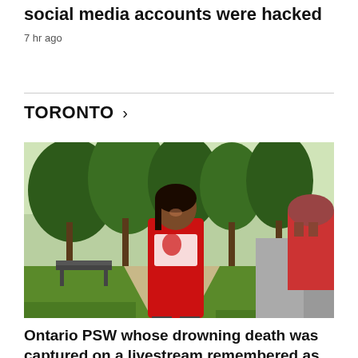...leadership candidate Leslyn Lewis says social media accounts were hacked
7 hr ago
TORONTO >
[Figure (photo): A young woman wearing a red 'African Centre in Toronto' t-shirt standing outdoors on a tree-lined sidewalk, smiling at the camera. Green trees, lawn, a bench, a road, and a red brick building visible in the background.]
Ontario PSW whose drowning death was captured on a livestream remembered as